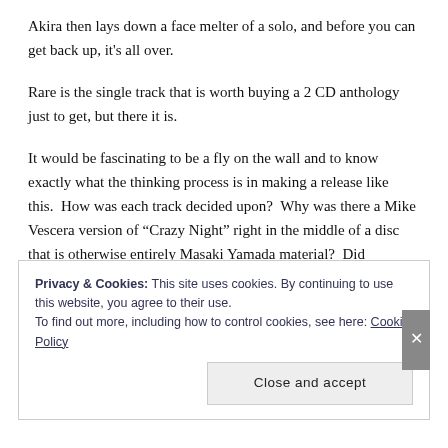Akira then lays down a face melter of a solo, and before you can get back up, it's all over.
Rare is the single track that is worth buying a 2 CD anthology just to get, but there it is.
It would be fascinating to be a fly on the wall and to know exactly what the thinking process is in making a release like this.  How was each track decided upon?  Why was there a Mike Vescera version of “Crazy Night” right in the middle of a disc that is otherwise entirely Masaki Yamada material?  Did somebody higher up say “Nope, we need a melodic version of the song, put on an earlier one”?  And why live versions of such big hits anyway?
Privacy & Cookies: This site uses cookies. By continuing to use this website, you agree to their use.
To find out more, including how to control cookies, see here: Cookie Policy
Close and accept